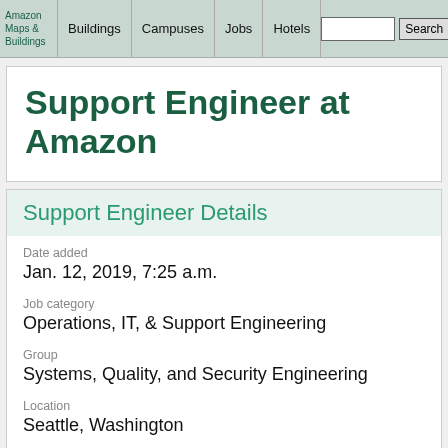Amazon Maps & Buildings | Buildings | Campuses | Jobs | Hotels | Search | Contact
Support Engineer at Amazon
Support Engineer Details
Date added
Jan. 12, 2019, 7:25 a.m.
Job category
Operations, IT, & Support Engineering
Group
Systems, Quality, and Security Engineering
Location
Seattle, Washington
Highlights
Directory Services team AWS Directory Services